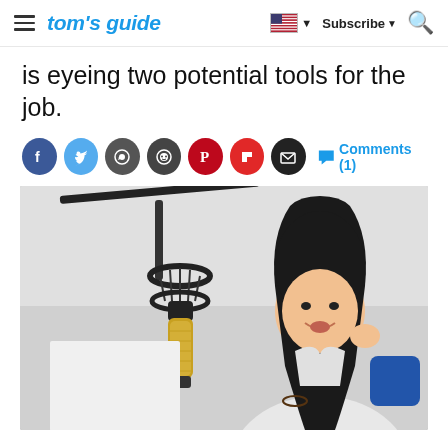tom's guide — Subscribe
is eyeing two potential tools for the job.
[Figure (other): Social sharing icons row: Facebook, Twitter, WhatsApp, Reddit, Pinterest, Flipboard, Email circles, followed by Comments (1) link]
[Figure (photo): Young Asian woman smiling and touching her hair next to a professional condenser microphone on a boom arm, in a studio setting]